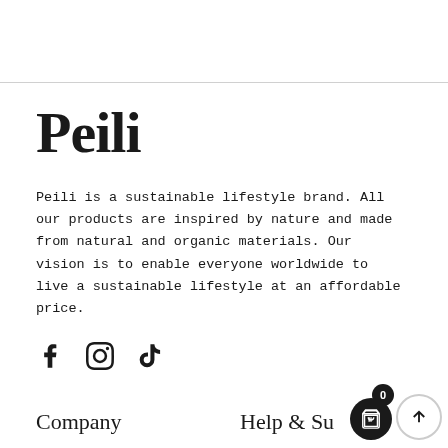Peili
Peili is a sustainable lifestyle brand. All our products are inspired by nature and made from natural and organic materials. Our vision is to enable everyone worldwide to live a sustainable lifestyle at an affordable price.
[Figure (illustration): Social media icons: Facebook (f), Instagram (circle with inner square), TikTok (musical note)]
Company
Help & Support